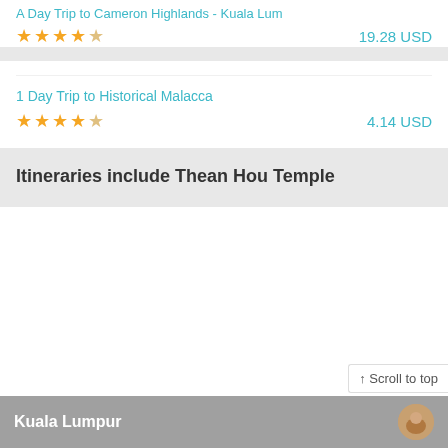A Day Trip to Cameron Highlands - Kuala Lum
19.28 USD
1 Day Trip to Historical Malacca
4.14 USD
Itineraries include Thean Hou Temple
↑ Scroll to top
Kuala Lumpur